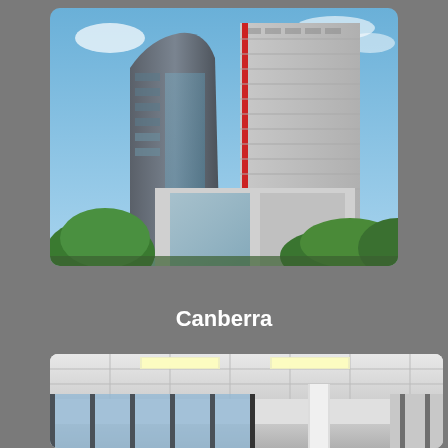[Figure (photo): Exterior photo of tall modern commercial office buildings with glass facades, one dark grey curved tower and one lighter rectangular tower with red accent stripe, surrounded by green trees against a blue sky.]
Canberra
[Figure (photo): Interior photo of a modern office space with white ceiling tiles, recessed fluorescent lighting, large floor-to-ceiling windows with dark frames, and a white column, showing an open plan office interior.]
Bankruptcy Experts Reviews